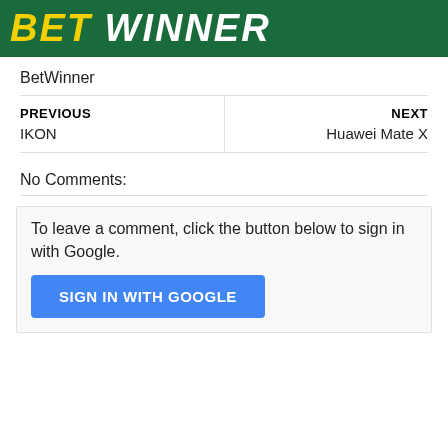[Figure (logo): BetWinner logo on dark green background with yellow BET and white WINNER text in bold italic uppercase]
BetWinner
| PREVIOUS | NEXT |
| --- | --- |
| IKON | Huawei Mate X |
No Comments:
To leave a comment, click the button below to sign in with Google.